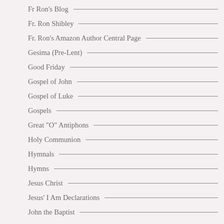Fr Ron's Blog
Fr. Ron Shibley
Fr. Ron's Amazon Author Central Page
Gesima (Pre-Lent)
Good Friday
Gospel of John
Gospel of Luke
Gospels
Great "O" Antiphons
Holy Communion
Hymnals
Hymns
Jesus Christ
Jesus' I Am Declarations
John the Baptist